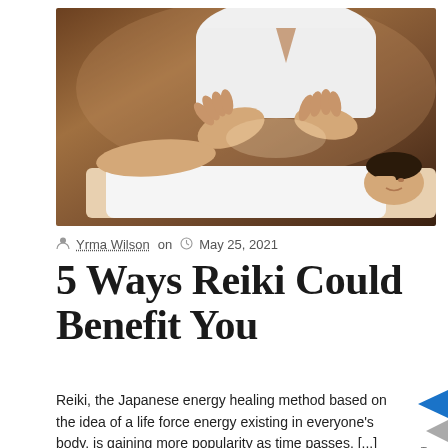[Figure (photo): A Reiki practitioner in white clothing holding hands over a patient lying on a table, performing energy healing. Warm brown and beige tones.]
Yrma Wilson on  May 25, 2021
5 Ways Reiki Could Benefit You
Reiki, the Japanese energy healing method based on the idea of a life force energy existing in everyone's body, is gaining more popularity as time passes. [...]